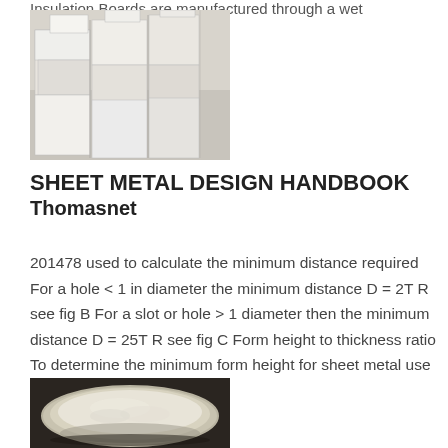Insulation Boards are manufactured through a wet
[Figure (photo): Stack of white insulation boards in a warehouse or factory setting]
SHEET METAL DESIGN HANDBOOK
Thomasnet
201478 used to calculate the minimum distance required For a hole < 1 in diameter the minimum distance D = 2T R see fig B For a slot or hole > 1 diameter then the minimum distance D = 25T R see fig C Form height to thickness ratio To determine the minimum form height for sheet metal use the
[Figure (photo): A bowl or plate of white powder material on a dark surface]